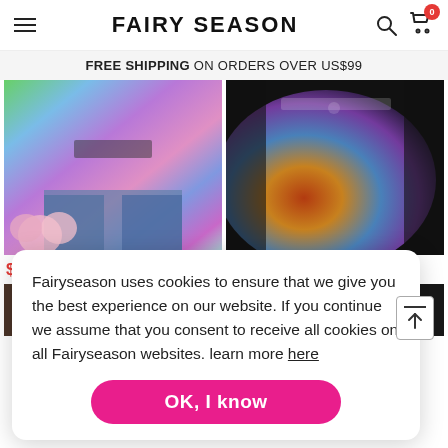FAIRY SEASON
FREE SHIPPING ON ORDERS OVER US$99
[Figure (photo): Tie-dye rainbow sweatshirt worn by a person holding flowers, colorful purple/green/pink tones]
$19.99
[Figure (photo): Dark tie-dye sweatshirt with orange/yellow/purple/blue splash colors and graphic print]
$22.39
Fairyseason uses cookies to ensure that we give you the best experience on our website. If you continue we assume that you consent to receive all cookies on all Fairyseason websites. learn more here
OK, I know